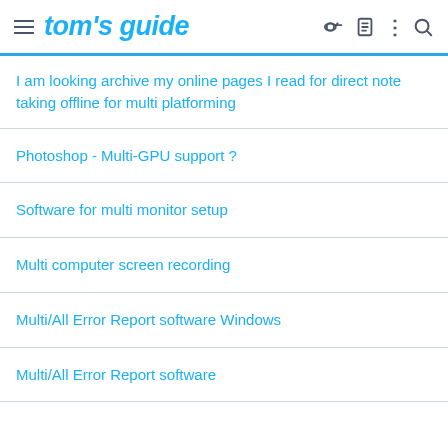tom's guide
I am looking archive my online pages I read for direct note taking offline for multi platforming
Photoshop - Multi-GPU support ?
Software for multi monitor setup
Multi computer screen recording
Multi/All Error Report software Windows
Multi/All Error Report software